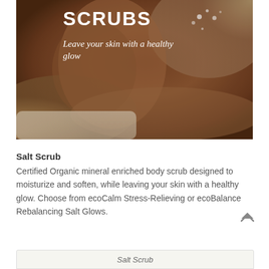[Figure (photo): Person receiving a body scrub spa treatment, resting on a towel with salt/scrub visible on skin. Text overlay reads 'SCRUBS' and 'Leave your skin with a healthy glow'.]
SCRUBS
Leave your skin with a healthy glow
Salt Scrub
Certified Organic mineral enriched body scrub designed to moisturize and soften, while leaving your skin with a healthy glow. Choose from ecoCalm Stress-Relieving or ecoBalance Rebalancing Salt Glows.
Salt Scrub